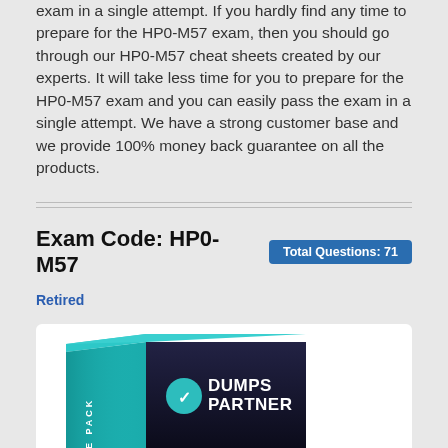exam in a single attempt. If you hardly find any time to prepare for the HP0-M57 exam, then you should go through our HP0-M57 cheat sheets created by our experts. It will take less time for you to prepare for the HP0-M57 exam and you can easily pass the exam in a single attempt. We have a strong customer base and we provide 100% money back guarantee on all the products.
Exam Code: HP0-M57  Total Questions: 71
Retired
[Figure (illustration): DumpsPartner product box with teal and dark coloring showing brand logo and name]